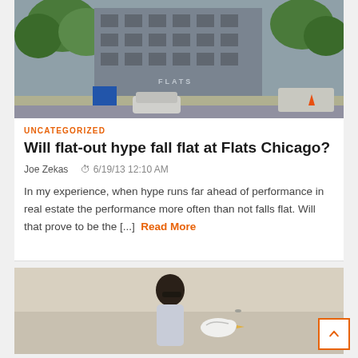[Figure (photo): Street-level photograph of a multi-story urban building (Flats Chicago) with trees, parked cars, and construction materials visible]
UNCATEGORIZED
Will flat-out hype fall flat at Flats Chicago?
Joe Zekas   6/19/13 12:10 AM
In my experience, when hype runs far ahead of performance in real estate the performance more often than not falls flat. Will that prove to be the [...] Read More
[Figure (photo): Man in sunglasses and white shirt standing on a beach with a seagull in front of him]